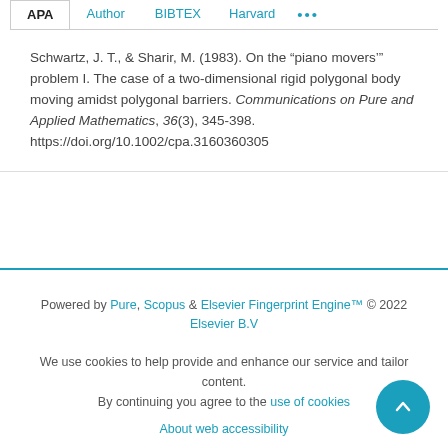APA | Author | BIBTEX | Harvard | ...
Schwartz, J. T., & Sharir, M. (1983). On the “piano movers’” problem I. The case of a two-dimensional rigid polygonal body moving amidst polygonal barriers. Communications on Pure and Applied Mathematics, 36(3), 345-398. https://doi.org/10.1002/cpa.3160360305
Powered by Pure, Scopus & Elsevier Fingerprint Engine™ © 2022 Elsevier B.V
We use cookies to help provide and enhance our service and tailor content. By continuing you agree to the use of cookies
About web accessibility